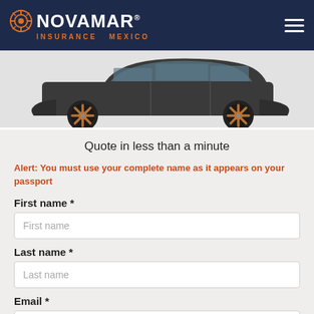[Figure (logo): Novamar Insurance Mexico logo with sun/target icon on dark navy header background]
[Figure (photo): Dark gray/charcoal modern car viewed from the side, showing stylized bronze/copper alloy wheels, on light gray background]
Quote in less than a minute
Alert: You must use your complete name as it appears on your passport
First name *
Last name *
Email *